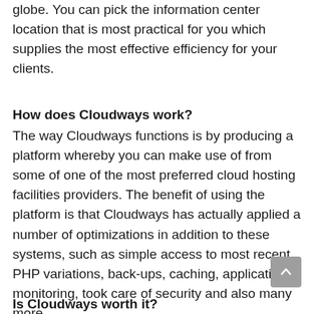globe. You can pick the information center location that is most practical for you which supplies the most effective efficiency for your clients.
How does Cloudways work?
The way Cloudways functions is by producing a platform whereby you can make use of from some of one of the most preferred cloud hosting facilities providers. The benefit of using the platform is that Cloudways has actually applied a number of optimizations in addition to these systems, such as simple access to most recent PHP variations, back-ups, caching, application monitoring, took care of security and also many more.
Is Cloudways worth it?